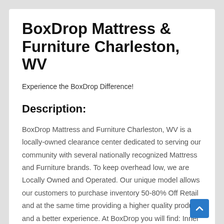BoxDrop Mattress & Furniture Charleston, WV
Experience the BoxDrop Difference!
Description:
BoxDrop Mattress and Furniture Charleston, WV is a locally-owned clearance center dedicated to serving our community with several nationally recognized Mattress and Furniture brands. To keep overhead low, we are Locally Owned and Operated. Our unique model allows our customers to purchase inventory 50-80% Off Retail and at the same time providing a higher quality product and a better experience. At BoxDrop you will find: Inner Spring Mattresses, Memory Foam